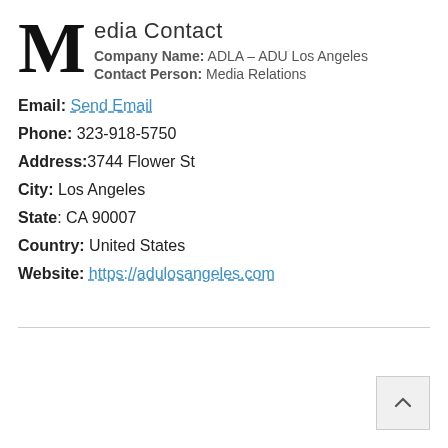Media Contact
Company Name: ADLA – ADU Los Angeles
Contact Person: Media Relations
Email: Send Email
Phone: 323-918-5750
Address: 3744 Flower St
City: Los Angeles
State: CA 90007
Country: United States
Website: https://adulosangeles.com